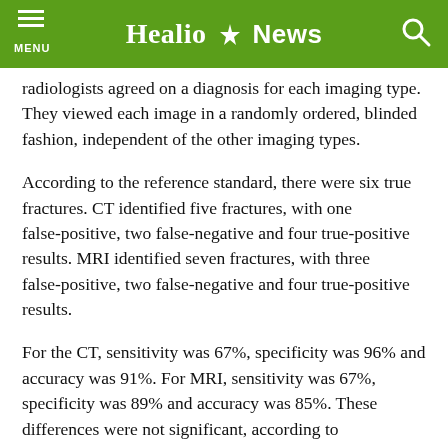Healio News
radiologists agreed on a diagnosis for each imaging type. They viewed each image in a randomly ordered, blinded fashion, independent of the other imaging types.
According to the reference standard, there were six true fractures. CT identified five fractures, with one false-positive, two false-negative and four true-positive results. MRI identified seven fractures, with three false-positive, two false-negative and four true-positive results.
For the CT, sensitivity was 67%, specificity was 96% and accuracy was 91%. For MRI, sensitivity was 67%, specificity was 89% and accuracy was 85%. These differences were not significant, according to